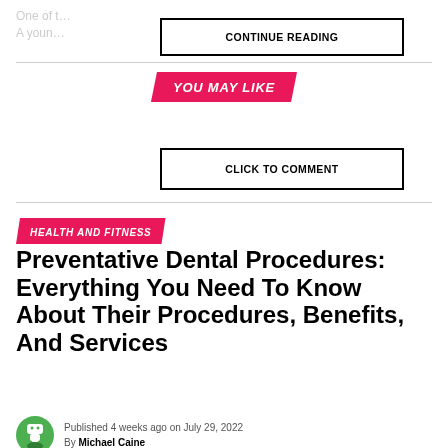One of t… A youn…
CONTINUE READING
YOU MAY LIKE
CLICK TO COMMENT
HEALTH AND FITNESS
Preventative Dental Procedures: Everything You Need To Know About Their Procedures, Benefits, And Services
Published 4 weeks ago on July 29, 2022
By Michael Caine